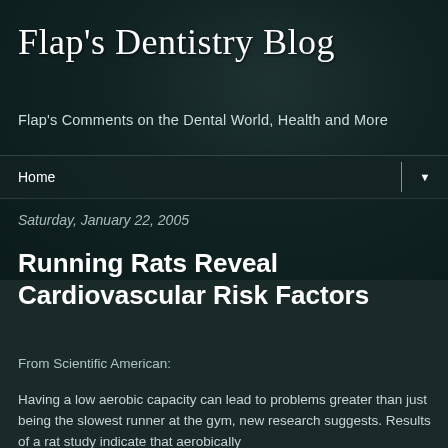Flap's Dentistry Blog
Flap's Comments on the Dental World, Health and More
Home ▼
Saturday, January 22, 2005
Running Rats Reveal Cardiovascular Risk Factors
From Scientific American:
Having a low aerobic capacity can lead to problems greater than just being the slowest runner at the gym, new research suggests. Results of a rat study indicate that aerobically